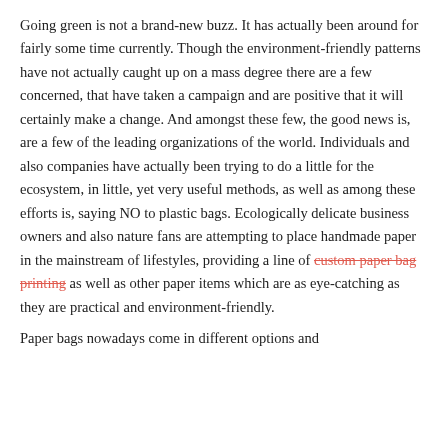Going green is not a brand-new buzz. It has actually been around for fairly some time currently. Though the environment-friendly patterns have not actually caught up on a mass degree there are a few concerned, that have taken a campaign and are positive that it will certainly make a change. And amongst these few, the good news is, are a few of the leading organizations of the world. Individuals and also companies have actually been trying to do a little for the ecosystem, in little, yet very useful methods, as well as among these efforts is, saying NO to plastic bags. Ecologically delicate business owners and also nature fans are attempting to place handmade paper in the mainstream of lifestyles, providing a line of custom paper bag printing as well as other paper items which are as eye-catching as they are practical and environment-friendly.
Paper bags nowadays come in different options and...